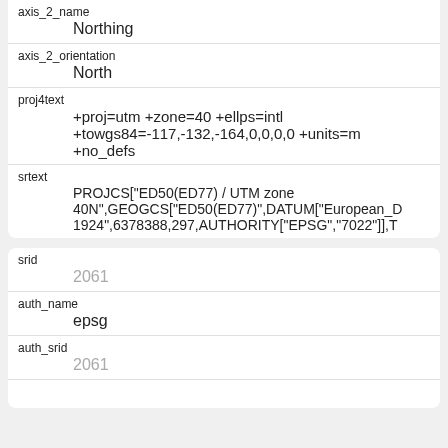| field | value |
| --- | --- |
| axis_2_name | Northing |
| axis_2_orientation | North |
| proj4text | +proj=utm +zone=40 +ellps=intl +towgs84=-117,-132,-164,0,0,0,0 +units=m +no_defs |
| srtext | PROJCS["ED50(ED77) / UTM zone 40N",GEOGCS["ED50(ED77)",DATUM["European_D 1924",6378388,297,AUTHORITY["EPSG","7022"]],T |
| field | value |
| --- | --- |
| srid | 2061 |
| auth_name | epsg |
| auth_srid | 2061 |